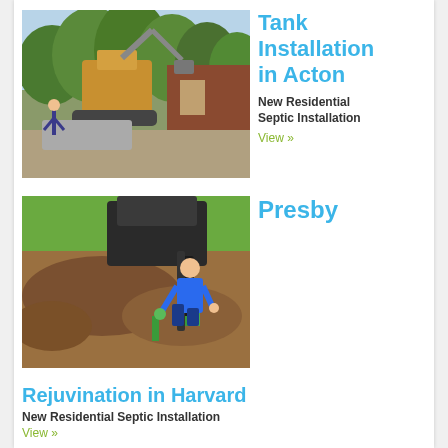[Figure (photo): Excavator machine lifting or moving a concrete septic tank next to a residential house with trees in background]
Tank Installation in Acton
New Residential Septic Installation
View »
[Figure (photo): Worker in blue shirt using equipment in a residential yard, excavating soil for septic system installation]
Presby
Rejuvination in Harvard
New Residential Septic Installation
View »